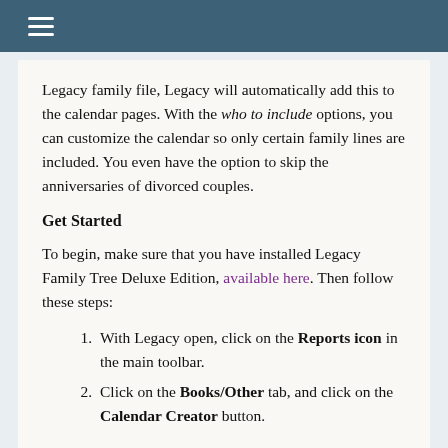≡
Legacy family file, Legacy will automatically add this to the calendar pages. With the who to include options, you can customize the calendar so only certain family lines are included. You even have the option to skip the anniversaries of divorced couples.
Get Started
To begin, make sure that you have installed Legacy Family Tree Deluxe Edition, available here. Then follow these steps:
With Legacy open, click on the Reports icon in the main toolbar.
Click on the Books/Other tab, and click on the Calendar Creator button.